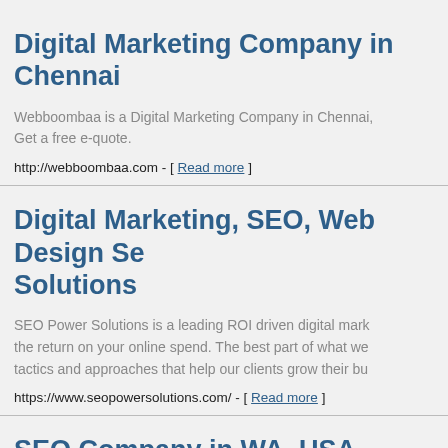Digital Marketing Company in Chennai
Webboombaa is a Digital Marketing Company in Chennai, Get a free e-quote.
http://webboombaa.com - [ Read more ]
Digital Marketing, SEO, Web Design Se... Solutions
SEO Power Solutions is a leading ROI driven digital mark... the return on your online spend. The best part of what we... tactics and approaches that help our clients grow their bu...
https://www.seopowersolutions.com/ - [ Read more ]
SEO Company in WA, USA